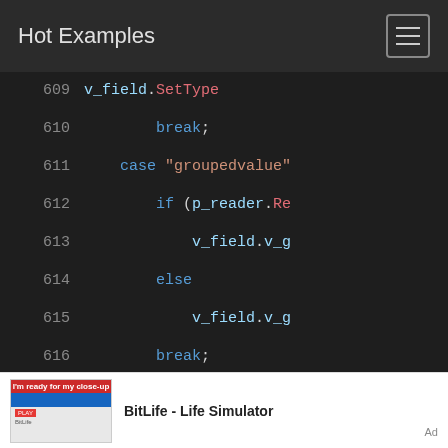Hot Examples
[Figure (screenshot): Code editor view showing lines 609-625 of source code with syntax highlighting on dark background. Lines show switch-case statements with v_field assignments, break statements, and cases for groupedvalue, row, format, and border.]
[Figure (infographic): Advertisement banner showing BitLife - Life Simulator app with a screenshot thumbnail and Ad label.]